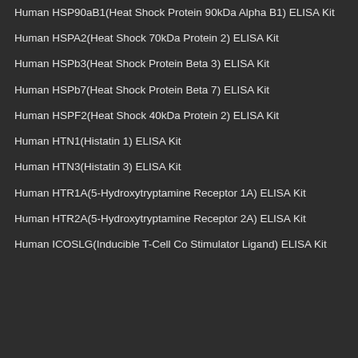Human HSP90aB1(Heat Shock Protein 90kDa Alpha B1) ELISA Kit
Human HSPA2(Heat Shock 70kDa Protein 2) ELISA Kit
Human HSPb3(Heat Shock Protein Beta 3) ELISA Kit
Human HSPb7(Heat Shock Protein Beta 7) ELISA Kit
Human HSPF2(Heat Shock 40kDa Protein 2) ELISA Kit
Human HTN1(Histatin 1) ELISA Kit
Human HTN3(Histatin 3) ELISA Kit
Human HTR1A(5-Hydroxytryptamine Receptor 1A) ELISA Kit
Human HTR2A(5-Hydroxytryptamine Receptor 2A) ELISA Kit
Human ICOSLG(Inducible T-Cell Co Stimulator Ligand) ELISA Kit